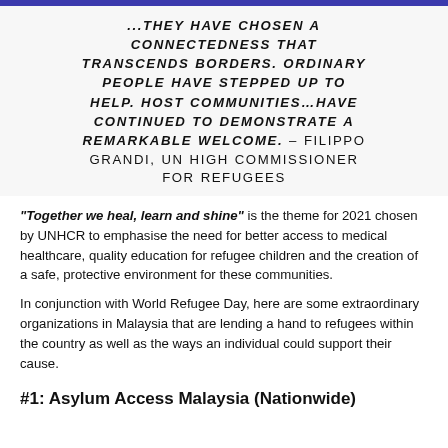...THEY HAVE CHOSEN A CONNECTEDNESS THAT TRANSCENDS BORDERS. ORDINARY PEOPLE HAVE STEPPED UP TO HELP. HOST COMMUNITIES…HAVE CONTINUED TO DEMONSTRATE A REMARKABLE WELCOME. – FILIPPO GRANDI, UN HIGH COMMISSIONER FOR REFUGEES
"Together we heal, learn and shine" is the theme for 2021 chosen by UNHCR to emphasise the need for better access to medical healthcare, quality education for refugee children and the creation of a safe, protective environment for these communities.
In conjunction with World Refugee Day, here are some extraordinary organizations in Malaysia that are lending a hand to refugees within the country as well as the ways an individual could support their cause.
#1: Asylum Access Malaysia (Nationwide)